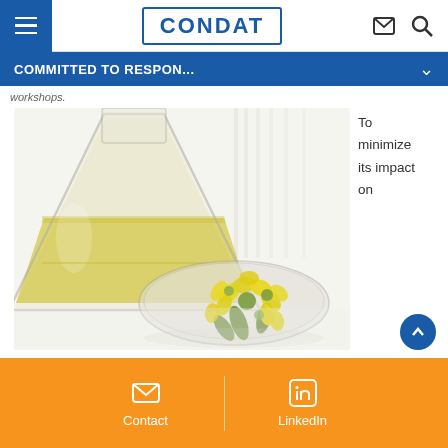CONDAT — Navigation header with hamburger menu, logo, mail and search icons
COMMITTED TO RESPON...
workshops.
[Figure (photo): Rapeseed oil in a glass flask with yellow rapeseed flowers in a petri dish, on a white background]
To minimize its impact on
Contact | LinkedIn